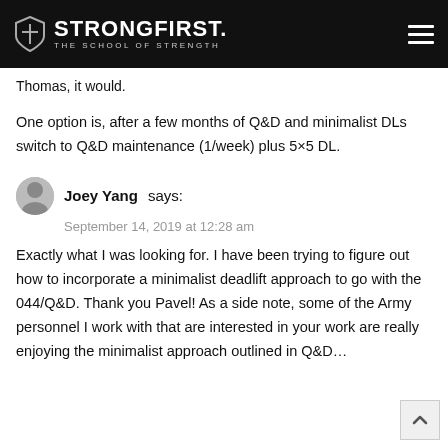[Figure (logo): StrongFirst logo — shield icon with cross and text 'StrongFirst. The School of Strength' on black header bar with hamburger menu icon]
Thomas, it would.
One option is, after a few months of Q&D and minimalist DLs switch to Q&D maintenance (1/week) plus 5×5 DL.
Joey Yang says:
September 14, 2019 at 12:28 am

Exactly what I was looking for. I have been trying to figure out how to incorporate a minimalist deadlift approach to go with the 044/Q&D. Thank you Pavel! As a side note, some of the Army personnel I work with that are interested in your work are really enjoying the minimalist approach outlined in Q&D…